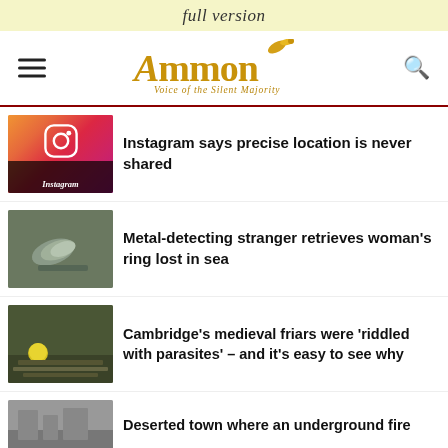full version
[Figure (logo): Ammon News logo with tagline 'Voice of the Silent Majority']
Instagram says precise location is never shared
Metal-detecting stranger retrieves woman's ring lost in sea
Cambridge's medieval friars were 'riddled with parasites' – and it's easy to see why
Deserted town where an underground fire